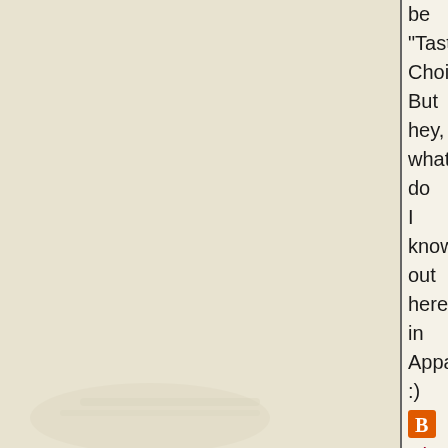be "Taster's Choice". But hey, what do I know out here in Appalachia? :)
[Figure (logo): Blogger orange square icon with white 'B' letter]
Chuck, at 10:07 PM -